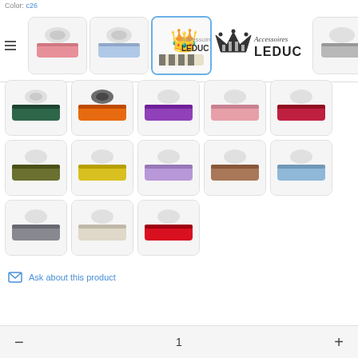Color: c26
[Figure (screenshot): E-commerce product page for Accessoires LEDUC showing grosgrain ribbon color swatches in various colors including pink, light blue, zebra-stripe, gray, mint green, dark green, orange, purple, pink, red, olive, yellow, lavender, brown, light blue, gray, cream/white, and red]
Ask about this product
1